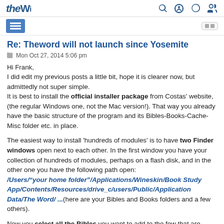theW [logo] [search icon] [power icon] [user icon]
Re: Theword will not launch since Yosemite
Mon Oct 27, 2014 5:06 pm
Hi Frank,
I did edit my previous posts a little bit, hope it is clearer now, but admittedly not super simple.
It is best to install the official installer package from Costas' website, (the regular Windows one, not the Mac version!). That way you already have the basic structure of the program and its Bibles-Books-Cache-Misc folder etc. in place.
The easiest way to install 'hundreds of modules' is to have two Finder windows open next to each other. In the first window you have your collection of hundreds of modules, perhaps on a flash disk, and in the other one you have the following path open:
/Users/"your home folder"/Applications/Wineskin/Book Study App/Contents/Resources/drive_c/users/Public/Application Data/The Word/ ...(here are your Bibles and Books folders and a few others).
Now you select all the Bibles you want to add to the few that are installed in the base package, and put them right in the Bibles folder...